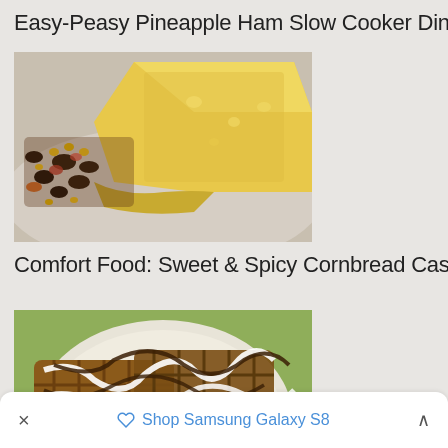Easy-Peasy Pineapple Ham Slow Cooker Dinner
[Figure (photo): Close-up photo of sweet & spicy cornbread casserole slice on a plate with black beans, corn, tomatoes and peppers]
Comfort Food: Sweet & Spicy Cornbread Casserole
[Figure (photo): Close-up photo of Belgian waffles with chocolate drizzle and white icing on a green background]
Shop Samsung Galaxy S8